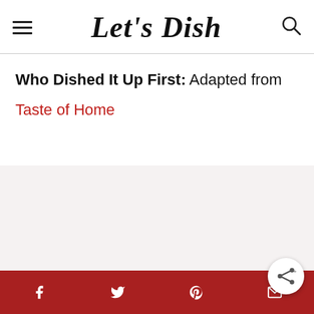Let's Dish
Who Dished It Up First: Adapted from Taste of Home
[Figure (photo): Placeholder image area with light pinkish-gray background]
Social share icons: Facebook, Twitter, Pinterest, Email, Share